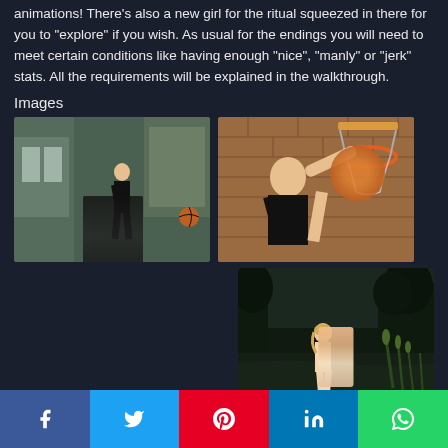animations! There's also a new girl for the ritual squeezed in there for you to "explore" if you wish. As usual for the endings you will need to meet certain conditions like having enough "nice", "manly" or "jerk" stats. All the requirements will be explained in the walkthrough.
Images
[Figure (screenshot): 3D game screenshot showing a female character in black athletic wear on a paved outdoor basketball court area near a building]
[Figure (screenshot): 3D game screenshot showing a close-up view from behind a female character near a basketball hoop against a brick wall]
[Figure (screenshot): 3D game screenshot showing a female character near a dark pond or water area with reeds/grass in background]